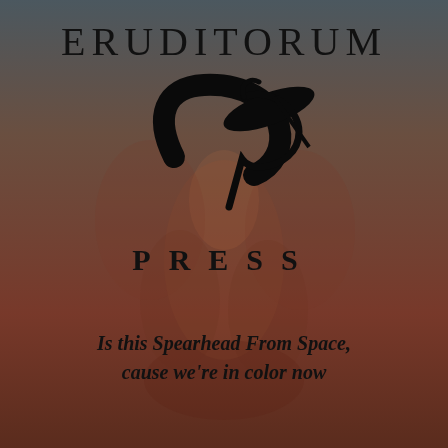[Figure (logo): Background illustration: dark reddish-brown toned figurative artwork with subtle human forms, overlaid with a gradient from dark blue-grey at top to deep red-brown at bottom. Center logo: a stylized cursive 'EP' or 'Op' monogram in black over the background. Text 'ERUDITORUM' at top, 'PRESS' below logo.]
ERUDITORUM
PRESS
Is this Spearhead From Space, cause we're in color now